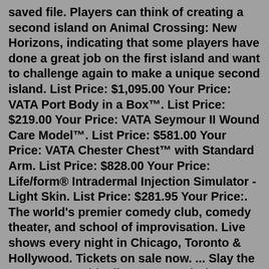saved file. Players can think of creating a second island on Animal Crossing: New Horizons, indicating that some players have done a great job on the first island and want to challenge again to make a unique second island. List Price: $1,095.00 Your Price: VATA Port Body in a Box™. List Price: $219.00 Your Price: VATA Seymour II Wound Care Model™. List Price: $581.00 Your Price: VATA Chester Chest™ with Standard Arm. List Price: $828.00 Your Price: Life/form® Intradermal Injection Simulator - Light Skin. List Price: $281.95 Your Price:. The world's premier comedy club, comedy theater, and school of improvisation. Live shows every night in Chicago, Toronto & Hollywood. Tickets on sale now. ... Slay the swag scene with all new Second City merchandise available online by Threadless! Read More. Chicago Box Office. 312-337-3992. Email Us. Drop Us A Note. Live Chat. Start A. No. New World is set in an alternate-history in the twilight of the Age of Exploration, and takes place on the fictional and